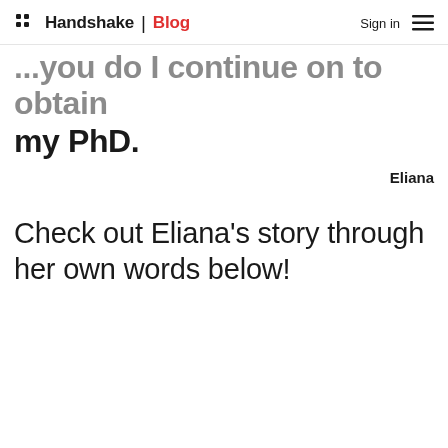Handshake | Blog   Sign in
...you do I continue on to obtain my PhD.
Eliana
Check out Eliana's story through her own words below!